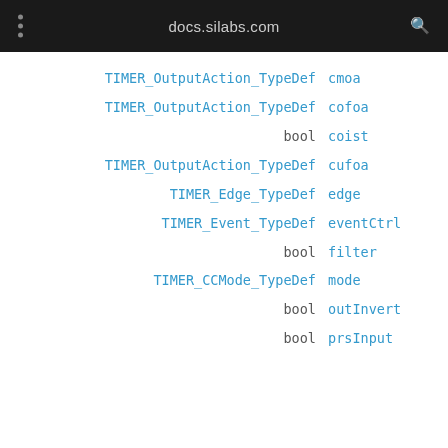docs.silabs.com
TIMER_OutputAction_TypeDef   cmoa
TIMER_OutputAction_TypeDef   cofoa
bool   coist
TIMER_OutputAction_TypeDef   cufoa
TIMER_Edge_TypeDef   edge
TIMER_Event_TypeDef   eventCtrl
bool   filter
TIMER_CCMode_TypeDef   mode
bool   outInvert
bool   prsInput